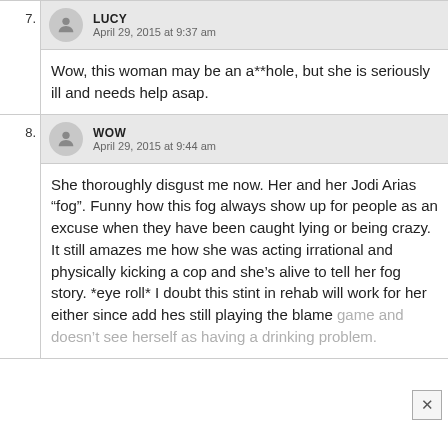7. LUCY
April 29, 2015 at 9:37 am
Wow, this woman may be an a**hole, but she is seriously ill and needs help asap.
8. WOW
April 29, 2015 at 9:44 am
She thoroughly disgust me now. Her and her Jodi Arias “fog”. Funny how this fog always show up for people as an excuse when they have been caught lying or being crazy. It still amazes me how she was acting irrational and physically kicking a cop and she’s alive to tell her fog story. *eye roll* I doubt this stint in rehab will work for her either since add hes still playing the blame game and doesn’t see herself as having a drinking problem.